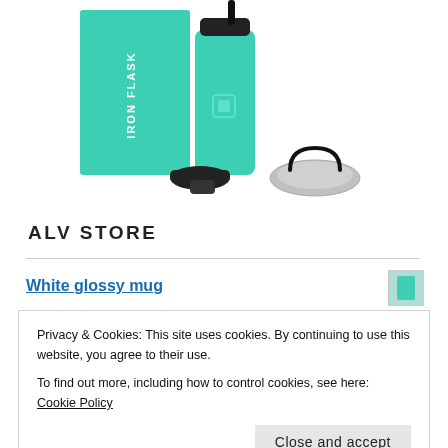[Figure (photo): Iron Flask water bottle product photo showing a teal/turquoise insulated bottle with multiple lids (straw lid, flat lid, loop lid) next to a teal product box with the Iron Flask logo]
ALV STORE
White glossy mug
Privacy & Cookies: This site uses cookies. By continuing to use this website, you agree to their use.
To find out more, including how to control cookies, see here: Cookie Policy
Close and accept